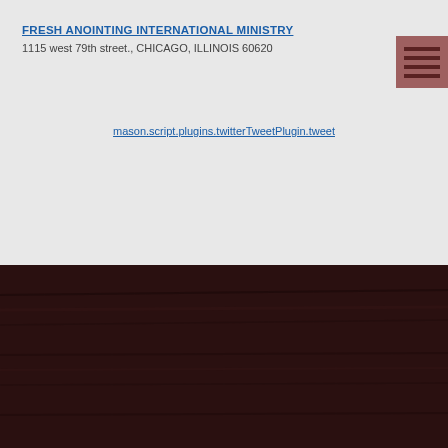FRESH ANOINTING INTERNATIONAL MINISTRY
1115 west 79th street., CHICAGO, ILLINOIS 60620
mason.script.plugins.twitterTweetPlugin.tweet
[Figure (other): Share button with + SHARE label in salmon/coral color]
[Figure (logo): Fresh Anointing Ministries Refreshing The Kingdom circular logo with dove, red border, gold ring, on dark wood background. Partial view showing top arc with text.]